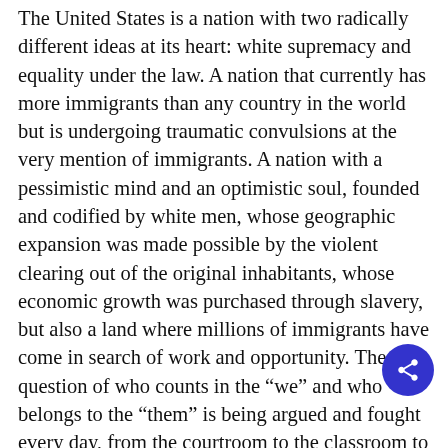The United States is a nation with two radically different ideas at its heart: white supremacy and equality under the law. A nation that currently has more immigrants than any country in the world but is undergoing traumatic convulsions at the very mention of immigrants. A nation with a pessimistic mind and an optimistic soul, founded and codified by white men, whose geographic expansion was made possible by the violent clearing out of the original inhabitants, whose economic growth was purchased through slavery, but also a land where millions of immigrants have come in search of work and opportunity. The question of who counts in the “we” and who belongs to the “them” is being argued and fought every day, from the courtroom to the classroom to the streets. It is a conversation that has been taking place since the founding of the United States, and one that was taking place in Germany when the Nazi cabal seized the state. How this nation answers that question will determine which of the two American ideas lives on.